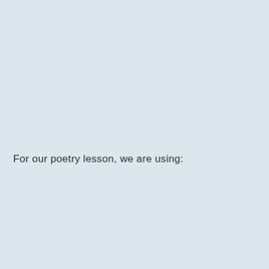For our poetry lesson, we are using: